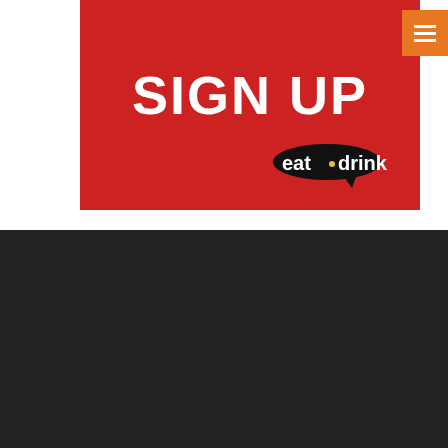[Figure (logo): Red banner with SIGN UP text in bold white capital letters and eat drink speech bubble logo at bottom right]
[Figure (other): Orange hamburger menu button in top right corner]
Contact Us :
5C, 5th Floor Syed Kechik Foundation Building,
Jalan Kapas Bangsar, 59100
Kuala Lumpur, Malaysia
Phone: +603 2094 9664/2093 9539